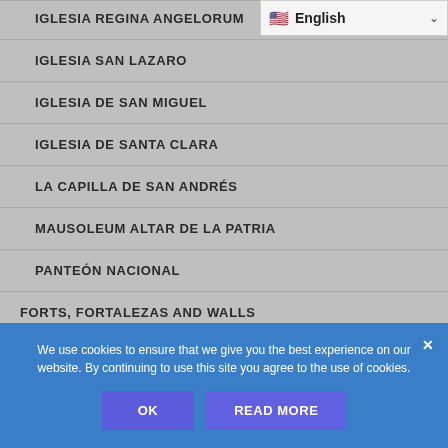IGLESIA REGINA ANGELORUM
IGLESIA SAN LAZARO
IGLESIA DE SAN MIGUEL
IGLESIA DE SANTA CLARA
LA CAPILLA DE SAN ANDRÉS
MAUSOLEUM ALTAR DE LA PATRIA
PANTEÓN NACIONAL
FORTS, FORTALEZAS AND WALLS
BASTIÓN DE SAN GENARO
We use cookies to ensure that we give you the best experience on our website. By continuing to use this site you agree to the use of cookies.